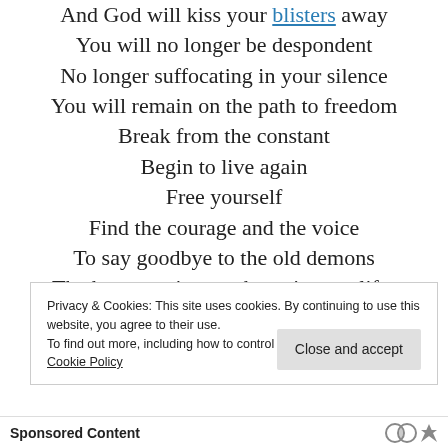And God will kiss your blisters away
You will no longer be despondent
No longer suffocating in your silence
You will remain on the path to freedom
Break from the constant
Begin to live again
Free yourself
Find the courage and the voice
To say goodbye to the old demons
The harmony in your heart is your life-
Privacy & Cookies: This site uses cookies. By continuing to use this website, you agree to their use.
To find out more, including how to control cookies, see here: Cookie Policy
Close and accept
Sponsored Content